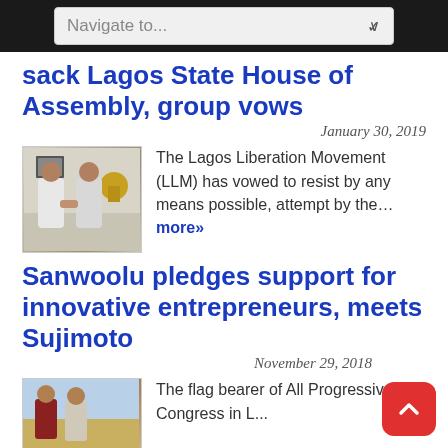Navigate to...
sack Lagos State House of Assembly, group vows
January 30, 2019
The Lagos Liberation Movement (LLM) has vowed to resist by any means possible, attempt by the... more»
Sanwoolu pledges support for innovative entrepreneurs, meets Sujimoto
November 29, 2018
The flag bearer of All Progressives Congress in L...